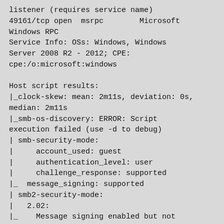listener (requires service name)
49161/tcp open  msrpc        Microsoft Windows RPC
Service Info: OSs: Windows, Windows Server 2008 R2 - 2012; CPE: cpe:/o:microsoft:windows

Host script results:
|_clock-skew: mean: 2m11s, deviation: 0s, median: 2m11s
|_smb-os-discovery: ERROR: Script execution failed (use -d to debug)
| smb-security-mode:
|     account_used: guest
|     authentication_level: user
|     challenge_response: supported
|_  message_signing: supported
| smb2-security-mode:
|   2.02:
|_    Message signing enabled but not required
| smb2-time:
|     date: 2020-02-23T16:56:29